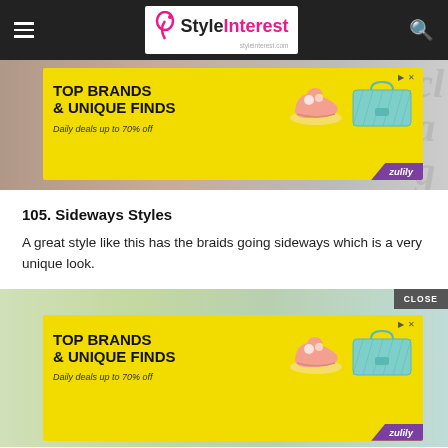StyleInterest
[Figure (screenshot): Zulily advertisement banner: yellow background with pink shoes and teal bag, text TOP BRANDS & UNIQUE FINDS, Daily deals up to 70% off]
105. Sideways Styles
A great style like this has the braids going sideways which is a very unique look.
[Figure (screenshot): Second Zulily advertisement banner with CLOSE button: same yellow ad with pink shoes and teal bag, text TOP BRANDS & UNIQUE FINDS, Daily deals up to 70% off]